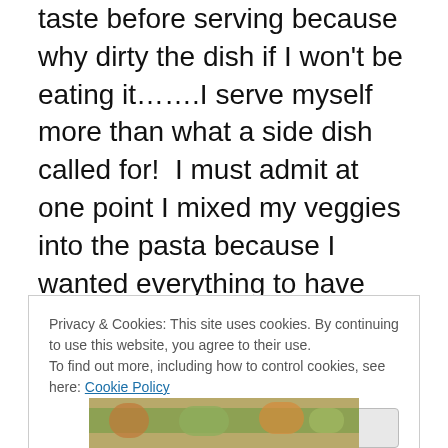taste before serving because why dirty the dish if I won't be eating it…….I serve myself more than what a side dish called for!  I must admit at one point I mixed my veggies into the pasta because I wanted everything to have that wonderful flavor.  The sauce tastes real and the package tells me there is all this good stuff and none of the bad, but this tastes real like in homemade fresh.  It does not taste like anything I ever had out of a box.  I tell myself that I was always right about Modern Table Meals because things out of box are horrible, but these come out of b-a-g!  See, I was right all along 😉
Privacy & Cookies: This site uses cookies. By continuing to use this website, you agree to their use. To find out more, including how to control cookies, see here: Cookie Policy
Close and accept
[Figure (photo): Food photo showing colorful pasta dish with vegetables, partially visible at bottom of page]